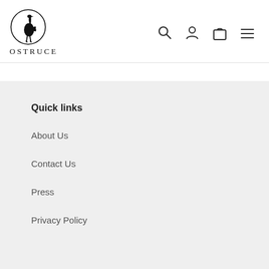[Figure (logo): Ostruce brand logo: ostrich silhouette inside a circle with text OSTRUCE below]
Quick links
About Us
Contact Us
Press
[Figure (illustration): Yellow circular gift/rewards button in bottom right corner]
Privacy Policy